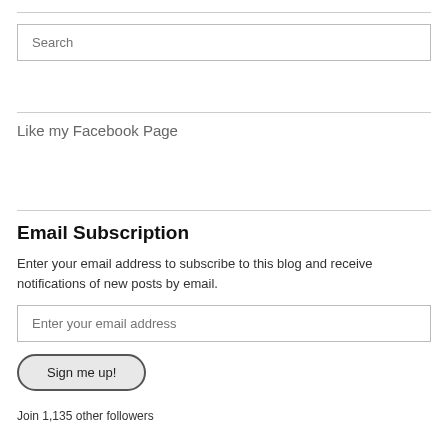Search
Like my Facebook Page
Email Subscription
Enter your email address to subscribe to this blog and receive notifications of new posts by email.
Enter your email address
Sign me up!
Join 1,135 other followers